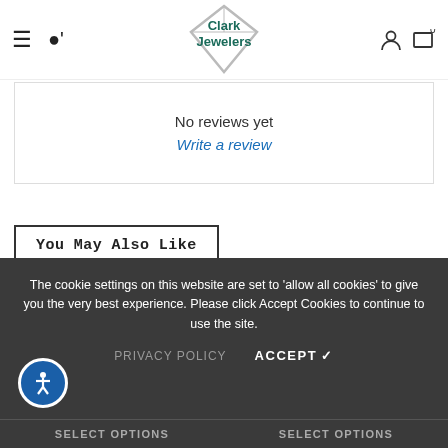[Figure (logo): Clark Jewelers logo with diamond shape and teal text]
No reviews yet
Write a review
You May Also Like
The cookie settings on this website are set to 'allow all cookies' to give you the very best experience. Please click Accept Cookies to continue to use the site.
PRIVACY POLICY
ACCEPT ✔
SELECT OPTIONS  SELECT OPTIONS